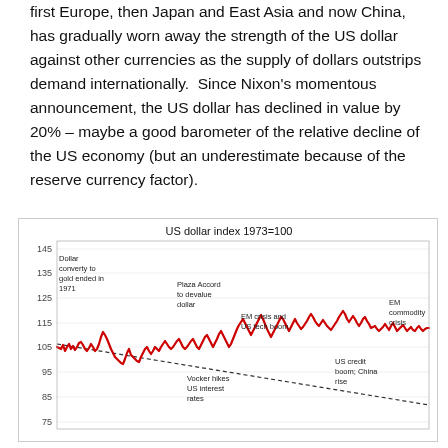first Europe, then Japan and East Asia and now China, has gradually worn away the strength of the US dollar against other currencies as the supply of dollars outstrips demand internationally. Since Nixon's momentous announcement, the US dollar has declined in value by 20% – maybe a good barometer of the relative decline of the US economy (but an underestimate because of the reserve currency factor).
[Figure (continuous-plot): Line chart showing the US dollar index from approximately 1973 to 2015, indexed to 100 in 1973. The chart shows a downward-sloping dotted trend line. Key annotations: 'Dollar convertibility to gold ended in 1971' near the start around 105-107, 'Vocker hikes US interest rates' at a trough around 95, a peak near 143 labeled with 'Plaza Accord to devalue dollar', 'EM crisis and US tech boom' at a secondary peak around 110, 'US credit boom; China rise' at a trough around 80, 'EM commodity crisis' near the end around 93. Y-axis labels: 75, 85, 95, 105, 115, 125, 135, 145.]